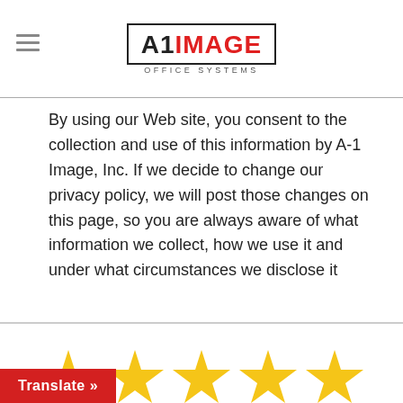A1 IMAGE OFFICE SYSTEMS
By using our Web site, you consent to the collection and use of this information by A-1 Image, Inc. If we decide to change our privacy policy, we will post those changes on this page, so you are always aware of what information we collect, how we use it and under what circumstances we disclose it
[Figure (illustration): Five gold star rating icons arranged in a horizontal row]
Translate »